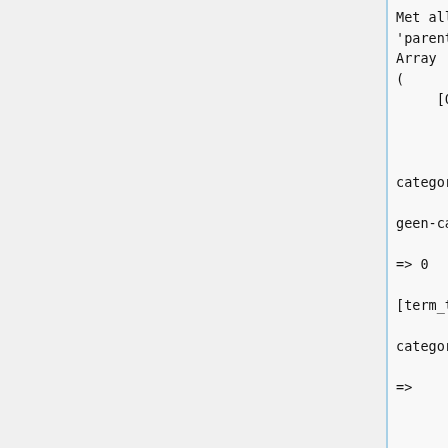Met alleen 'orderby' & 'parent':
Array
(
    [0] => WP_Term Object
            (
                    [term_id] => 1
                    [name] => Geen categorie
                    [slug] => geen-categorie
                    [term_group] => 0

[term_taxonomy_id] => 1
                    [taxonomy] => category
                    [description] =>
                    [parent] => 0
                    [count] => 1
                    [filter] => raw
                    [cat_ID] => 1